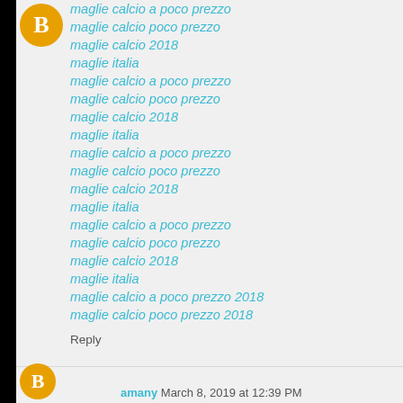maglie calcio a poco prezzo
maglie calcio poco prezzo
maglie calcio 2018
maglie italia
maglie calcio a poco prezzo
maglie calcio poco prezzo
maglie calcio 2018
maglie italia
maglie calcio a poco prezzo
maglie calcio poco prezzo
maglie calcio 2018
maglie italia
maglie calcio a poco prezzo
maglie calcio poco prezzo
maglie calcio 2018
maglie italia
maglie calcio a poco prezzo 2018
maglie calcio poco prezzo 2018
Reply
amany March 8, 2019 at 12:39 PM